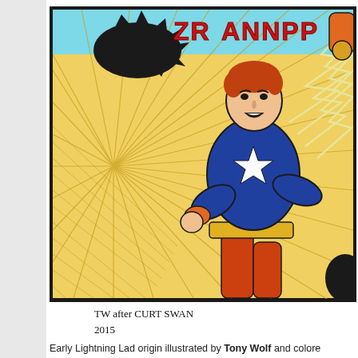[Figure (illustration): Comic book panel illustration showing a superhero character (Lightning Lad) in a blue and orange costume with a star emblem on his chest, running with orange trousers and a yellow belt, red hair, against a yellow starburst background with energy rays in the upper right. Text at top reads 'ZRANNPP' in red lettering. Signature below reads 'TW after CURT SWAN 2015'.]
Early Lightning Lad origin illustrated by Tony Wolf and colore